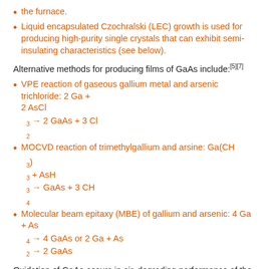the furnace.
Liquid encapsulated Czochralski (LEC) growth is used for producing high-purity single crystals that can exhibit semi-insulating characteristics (see below).
Alternative methods for producing films of GaAs include:[5][7]
VPE reaction of gaseous gallium metal and arsenic trichloride: 2 Ga + 2 AsCl3 → 2 GaAs + 3 Cl2
MOCVD reaction of trimethylgallium and arsine: Ga(CH3)3 + AsH3 → GaAs + 3 CH4
Molecular beam epitaxy (MBE) of gallium and arsenic: 4 Ga + As4 → 4 GaAs or 2 Ga + As2 → 2 GaAs
Oxidation of GaAs occurs in air, degrading performance of the semiconductor. The surface can be passivated by depositing a cubic gallium(II) sulfide layer using a tert-butyl gallium sulfide compound such as (t